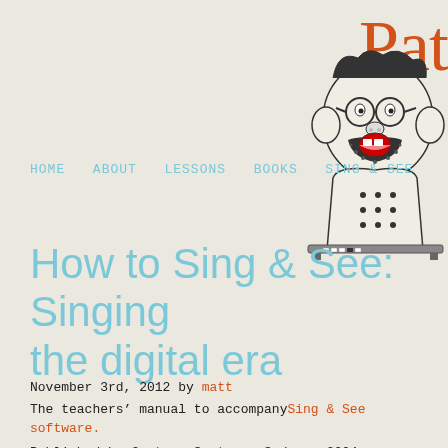Pat
[Figure (illustration): Cartoon illustration of a singing monkey with glasses and a beard, sitting at a piano or desk, mouth wide open singing]
HOME   ABOUT   LESSONS   BOOKS   SING & SEE
How to Sing & See: Singing the digital era
November 3rd, 2012 by matt
The teachers' manual to accompany Sing & See software.
Published by Cantare Systems, Sydney, 2004